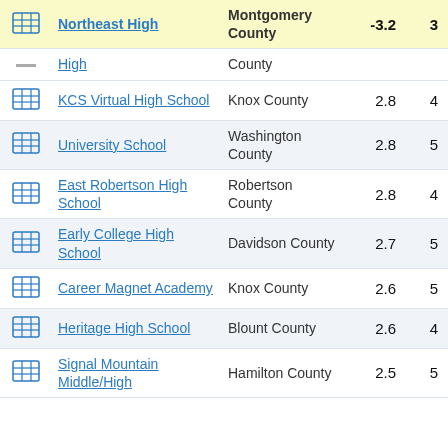|  | School | County | Value | Num |
| --- | --- | --- | --- | --- |
| [grid icon] | Northeast High | Montgomery County | -3.2 | 3 |
| [dash] | High | County |  |  |
| [grid icon] | KCS Virtual High School | Knox County | 2.8 | 4 |
| [grid icon] | University School | Washington County | 2.8 | 5 |
| [grid icon] | East Robertson High School | Robertson County | 2.8 | 4 |
| [grid icon] | Early College High School | Davidson County | 2.7 | 5 |
| [grid icon] | Career Magnet Academy | Knox County | 2.6 | 5 |
| [grid icon] | Heritage High School | Blount County | 2.6 | 4 |
| [grid icon] | Signal Mountain Middle/High | Hamilton County | 2.5 | 5 |